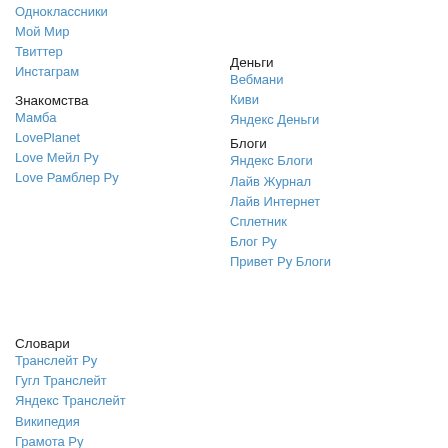Одноклассники
Мой Мир
Твиттер
Инстаграм
Знакомства
Мамба
LovePlanet
Love Мейл Ру
Love Рамблер Ру
Деньги
Вебмани
Киви
Яндекс Деньги
Блоги
Яндекс Блоги
Лайв Журнал
Лайв Интернет
Сплетник
Блог Ру
Привет Ру Блоги
Словари
Транслейт Ру
Гугл Транслейт
Яндекс Транслейт
Википедия
Грамота Ру